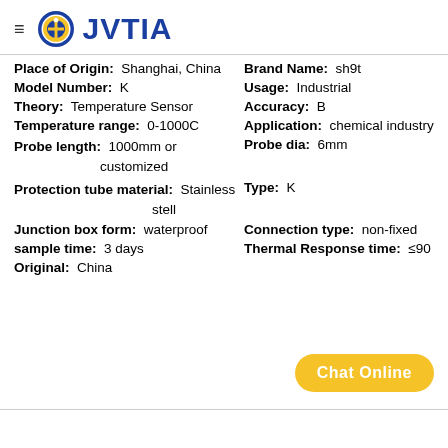[Figure (logo): JVTIA brand logo with circular icon (blue ring, yellow/gold cross symbol) and blue bold text JVTIA]
Place of Origin: Shanghai, China
Brand Name: sh9t
Model Number: K
Usage: Industrial
Theory: Temperature Sensor
Accuracy: B
Temperature range: 0-1000C
Application: chemical industry
Probe length: 1000mm or customized
Probe dia: 6mm
Protection tube material: Stainless stell
Type: K
Junction box form: waterproof
Connection type: non-fixed
sample time: 3 days
Thermal Response time: ≤90
Original: China